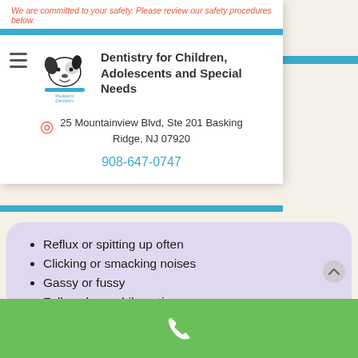We are committed to your safety. Please review our safety procedures below.
...g, ...eeding
[Figure (logo): Basking Ridge Pediatric Dentistry dog logo]
Dentistry for Children, Adolescents and Special Needs
25 Mountainview Blvd, Ste 201  Basking Ridge, NJ 07920
908-647-0747
Reflux or spitting up often
Clicking or smacking noises
Gassy or fussy
Falls asleep while eating
Milk dribbles out of the mouth
Baby is fustrated when eating
Unable to hold a pacifier
Prolonged nursing sessions